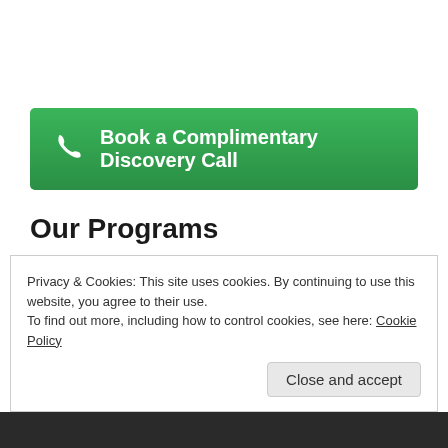[Figure (other): Green button with phone icon: 'Book a Complimentary Discovery Call']
Our Programs
DeClutter Programs
Coaching Programs
DeClutter Accountability Group Coaching
Privacy & Cookies: This site uses cookies. By continuing to use this website, you agree to their use.
To find out more, including how to control cookies, see here: Cookie Policy
Close and accept